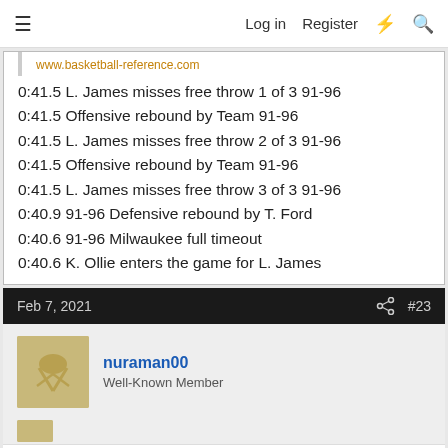≡   Log in   Register   ⚡   🔍
www.basketball-reference.com
0:41.5 L. James misses free throw 1 of 3 91-96
0:41.5 Offensive rebound by Team 91-96
0:41.5 L. James misses free throw 2 of 3 91-96
0:41.5 Offensive rebound by Team 91-96
0:41.5 L. James misses free throw 3 of 3 91-96
0:40.9 91-96 Defensive rebound by T. Ford
0:40.6 91-96 Milwaukee full timeout
0:40.6 K. Ollie enters the game for L. James
Feb 7, 2021   #23
nuraman00
Well-Known Member
MHSL82 said: ↑